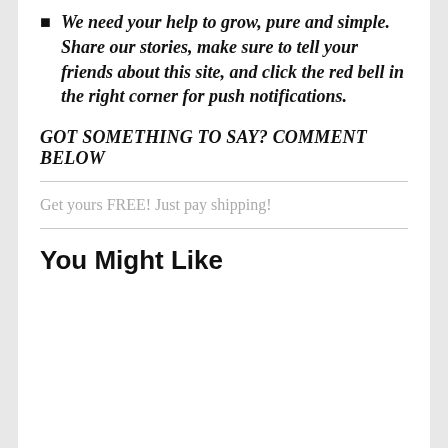We need your help to grow, pure and simple. Share our stories, make sure to tell your friends about this site, and click the red bell in the right corner for push notifications.
GOT SOMETHING TO SAY? COMMENT BELOW
Get yours FREE! Just pay shipping!
You Might Like